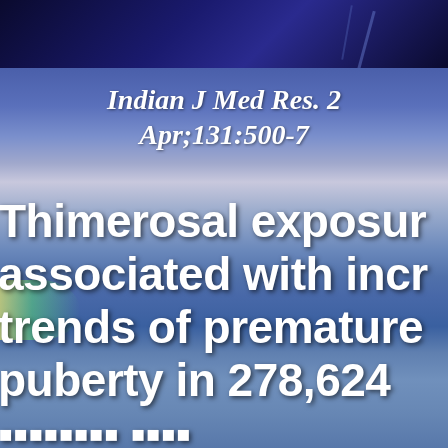[Figure (photo): Dark blue background banner at top of slide, resembling a night sky or dark abstract image]
Indian J Med Res. 2 Apr;131:500-7
Thimerosal exposure associated with increasing trends of premature puberty in 278,624 ...